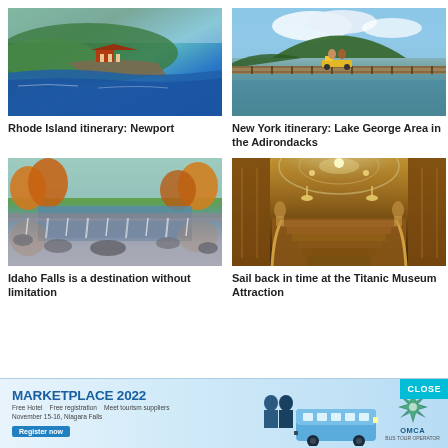[Figure (photo): Aerial view of Newport Rhode Island coastline with mansion and ocean]
Rhode Island itinerary: Newport
[Figure (photo): People riding rail bikes on a wooden bridge over a lake in the Adirondacks, New York]
New York itinerary: Lake George Area in the Adirondacks
[Figure (photo): Idaho Falls waterfall with river and autumn trees reflected in water]
Idaho Falls is a destination without limitation
[Figure (photo): Interior of Titanic Museum Attraction showing ornate wooden grand staircase and glass dome]
Sail back in time at the Titanic Museum Attraction
[Figure (infographic): MARKETPLACE 2022 banner advertisement: Free Hotel, Free registration, Meet tourism suppliers, November 15-16, Niagara Falls. Register now button. Silhouettes of people and a bus. OMCA logo.]